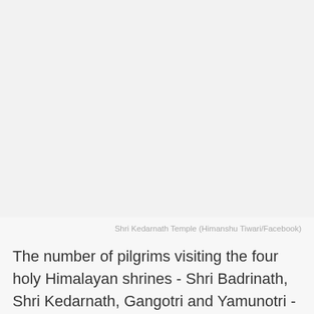[Figure (photo): Large image area showing Shri Kedarnath Temple (image appears blank/light in this rendering)]
Shri Kedarnath Temple (Himanshu Tiwari/Facebook)
The number of pilgrims visiting the four holy Himalayan shrines - Shri Badrinath, Shri Kedarnath, Gangotri and Yamunotri - in Uttarakhand have